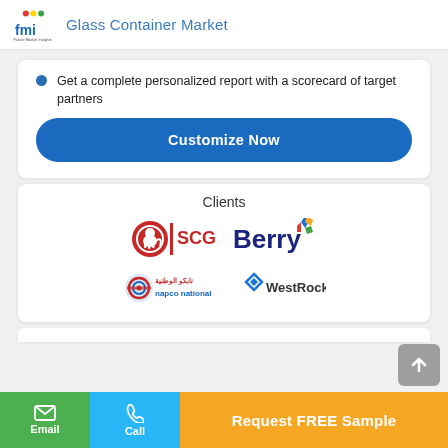Glass Container Market
Get a complete personalized report with a scorecard of target partners
Customize Now
Clients
[Figure (logo): SCG logo - red elephant in circle with SCG text]
[Figure (logo): Berry logo - blue text with colorful diamond star]
[Figure (logo): napco national logo - red/blue emblem with Arabic and English text]
[Figure (logo): WestRock logo - blue chevron/diamond icon with WestRock text]
Request FREE Sample
Email
Call